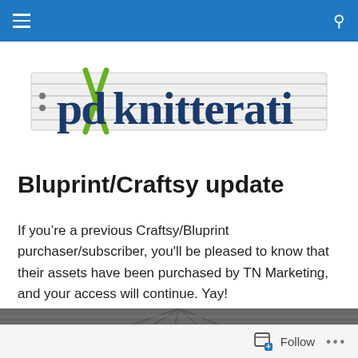[Figure (logo): pdxknitterati logo with knitting needles and staff lines]
Bluprint/Craftsy update
If you’re a previous Craftsy/Bluprint purchaser/subscriber, you'll be pleased to know that their assets have been purchased by TN Marketing, and your access will continue. Yay!
[Figure (photo): Partial photo of an industrial/warehouse interior]
Follow ...